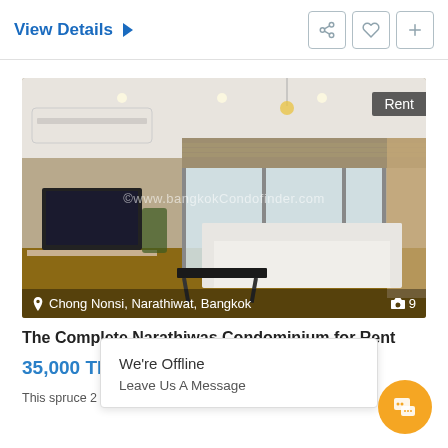View Details ▶
[Figure (photo): Interior living room of a condominium with white sofa, wall-mounted TV, large floor-to-ceiling windows, air conditioning unit, and hardwood floors. Watermark: @www.bangkokCondofinder.com. Badge: Rent. Location: Chong Nonsi, Narathiwat, Bangkok. Photo count: 9.]
The Complete Narathiwas Condominium for Rent
35,000 THB
This spruce 2 Bedroom condo for rent at the Complete
We're Offline
Leave Us A Message